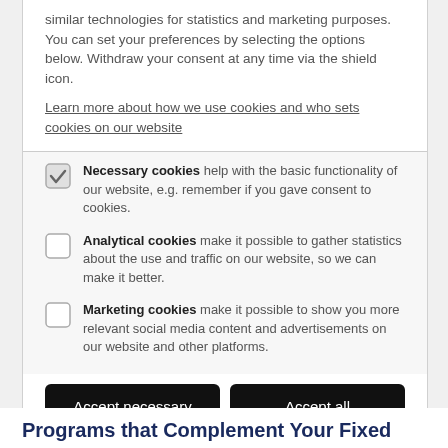similar technologies for statistics and marketing purposes. You can set your preferences by selecting the options below. Withdraw your consent at any time via the shield icon.
Learn more about how we use cookies and who sets cookies on our website
Necessary cookies help with the basic functionality of our website, e.g. remember if you gave consent to cookies.
Analytical cookies make it possible to gather statistics about the use and traffic on our website, so we can make it better.
Marketing cookies make it possible to show you more relevant social media content and advertisements on our website and other platforms.
Accept necessary | Accept all
Programs that Complement Your Fixed